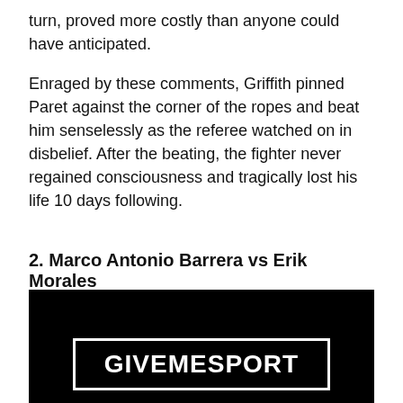turn, proved more costly than anyone could have anticipated.
Enraged by these comments, Griffith pinned Paret against the corner of the ropes and beat him senselessly as the referee watched on in disbelief. After the beating, the fighter never regained consciousness and tragically lost his life 10 days following.
2. Marco Antonio Barrera vs Erik Morales
[Figure (logo): Black image with a white-bordered rectangle containing the text GIVEMESPORT in white bold letters.]